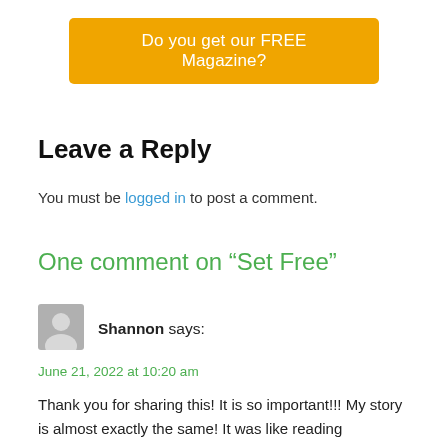[Figure (other): Orange button banner reading 'Do you get our FREE Magazine?']
Leave a Reply
You must be logged in to post a comment.
One comment on “Set Free”
[Figure (other): Generic user avatar icon (grey silhouette)]
Shannon says:
June 21, 2022 at 10:20 am
Thank you for sharing this! It is so important!!! My story is almost exactly the same! It was like reading